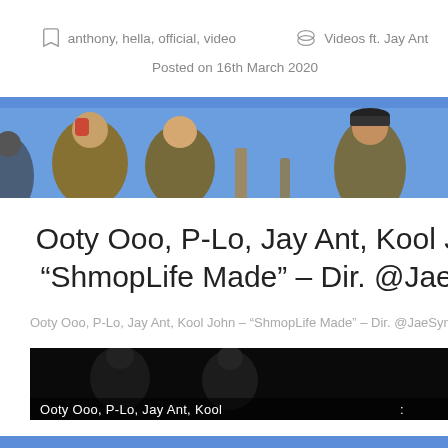anthony, hella, official, video   Videos ft. Jay Ant
Posted on 16th March 2020
[Figure (photo): Photo strip showing hip-hop artists in front of a blue background, wearing jackets]
Ooty Ooo, P-Lo, Jay Ant, Kool John – "ShmopLife Made" – Dir. @JaeSynth
Ooty Ooo, P-Lo, Jay Ant, Kool John – "ShmopLife Made" – Dir. @JaeSynth
[Figure (screenshot): Video thumbnail showing artists with text overlay: Ooty Ooo, P-Lo, Jay Ant, Kool]